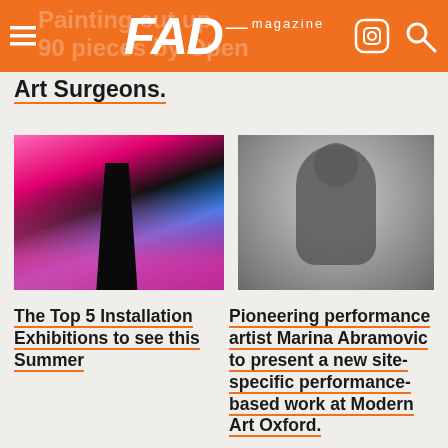FAD magazine
Painting cut up, rearranged and remade: 90 pieces by Open Art Surgeons.
[Figure (photo): Abstract colorful art installation with pink and blue hues and a dark silhouette figure]
[Figure (photo): Portrait of a person in dark clothing against grey background, hands clasped]
The Top 5 Installation Exhibitions to see this Summer
Pioneering performance artist Marina Abramovic to present a new site-specific performance-based work at Modern Art Oxford.